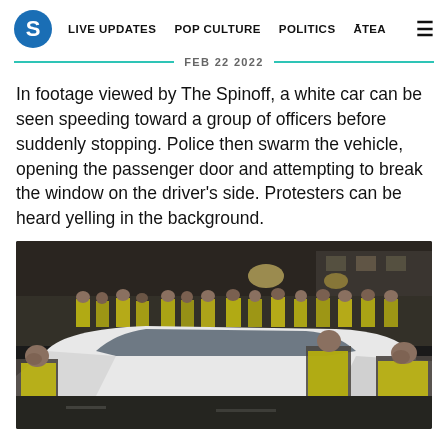S | LIVE UPDATES  POP CULTURE  POLITICS  ĀTEA  ☰
FEB 22 2022
In footage viewed by The Spinoff, a white car can be seen speeding toward a group of officers before suddenly stopping. Police then swarm the vehicle, opening the passenger door and attempting to break the window on the driver's side. Protesters can be heard yelling in the background.
[Figure (photo): Police officers in yellow high-visibility vests surrounding a white car at night. Officers are attempting to open the car doors. A crowd of people including more officers and protesters can be seen in the background on a street.]